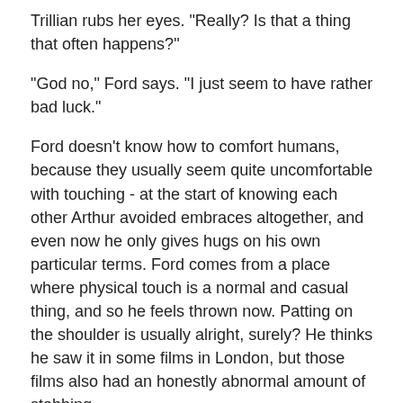Trillian rubs her eyes. "Really? Is that a thing that often happens?"
"God no," Ford says. "I just seem to have rather bad luck."
Ford doesn't know how to comfort humans, because they usually seem quite uncomfortable with touching - at the start of knowing each other Arthur avoided embraces altogether, and even now he only gives hugs on his own particular terms. Ford comes from a place where physical touch is a normal and casual thing, and so he feels thrown now. Patting on the shoulder is usually alright, surely? He thinks he saw it in some films in London, but those films also had an honestly abnormal amount of stabbing.
Ford reaches out gingerly and pats Trillian's closest shoulder three times. He times it so that the intervals between each pat are regular - and long enough that he could notice if she started glaring. Instead she laughs.
"You and Zaphod and Earth men are all the same," she says, with a lilt that Ford thinks means she isn't entirely serious. "So awful with affection."
"I ... I'd have you know I'm great at comforting people back home," Ford says. "You humans just have all these ideas about propriety and